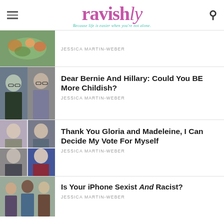ravishly — Because life is easier when you're not alone.
[Figure (photo): Thumbnail image of food/vegetables in bowls]
JESSICA MARTIN-WEBER
[Figure (photo): Thumbnail photos of Hillary Clinton and Bernie Sanders side by side]
Dear Bernie And Hillary: Could You BE More Childish?
JESSICA MARTIN-WEBER
[Figure (photo): 2x2 grid of thumbnails: Gloria Steinem, Madeleine Albright, Bernie Sanders, Hillary Clinton]
Thank You Gloria and Madeleine, I Can Decide My Vote For Myself
JESSICA MARTIN-WEBER
[Figure (photo): Thumbnail image of diverse group of people]
Is Your iPhone Sexist And Racist?
JESSICA MARTIN-WEBER